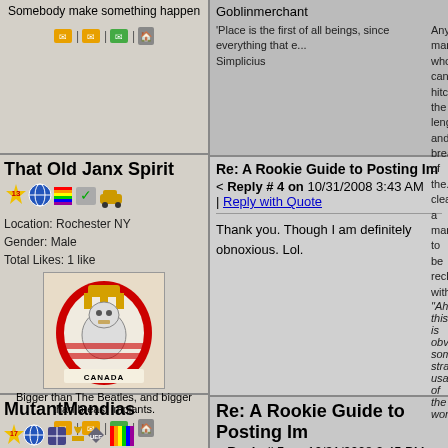Somebody make something happen
Goblinmerchant
'Place is the first of all beings, since everything that exists is in a place and cannot exist without a place.' - Simplicius
That Old Janx Spirit
Re: A Rookie Guide to Posting Im...
< Reply # 4 on 10/31/2008 3:43 AM
Reply with Quote
Location: Rochester NY
Gender: Male
Total Likes: 1 like
[Figure (illustration): Canada coat of arms parody with a beaver wearing a crown]
Bigger than The Beatles, and bigger than breast implants.
Thank you. Though I am definitely obnoxious. Lol.
Any man who can hitch the length and breadth of the... clearly a man to be reckoned with.
"Ah, this is obviously some strange usage of the wor...
MutantMandias
Re: A Rookie Guide to Posting Im...
< Reply # 5 on 10/31/2008 2:45 PM
Reply with Quote